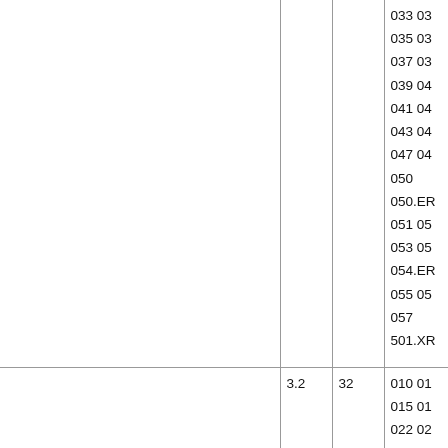|  |  |  | 033 03
035 03
037 03
039 04
041 04
043 04
047 04
050
050.ER
051 05
053 05
054.ER
055 05
057
501.XR |
|  | 3.2 | 32 | 010 01
015 01
022 02 |